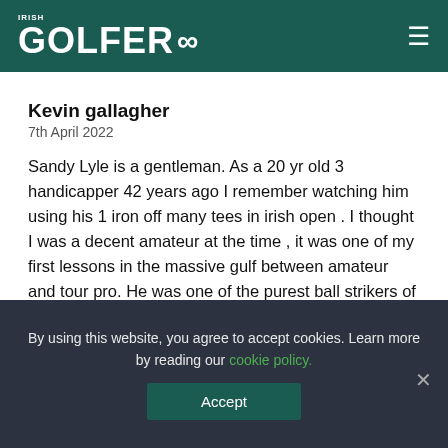IRISH GOLFER
Kevin gallagher
7th April 2022
Sandy Lyle is a gentleman. As a 20 yr old 3 handicapper 42 years ago I remember watching him using his 1 iron off many tees in irish open . I thought I was a decent amateur at the time , it was one of my first lessons in the massive gulf between amateur and tour pro. He was one of the purest ball strikers of his generation knocking a balata titleist about 300 yds with a one iron. ??
Reply
By using this website, you agree to accept cookies. Learn more by reading our cookie policy.
Accept